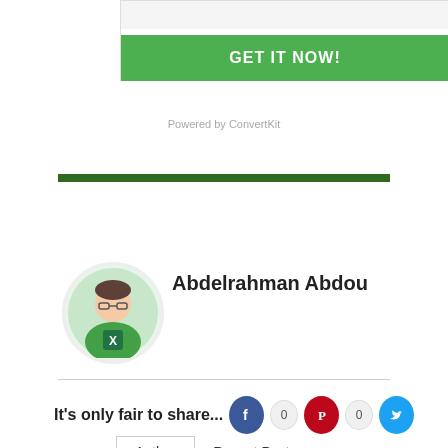[Figure (screenshot): Email signup widget with input field and green GET IT NOW button, Powered by ConvertKit text below]
Powered by ConvertKit
Author   Recent Posts
[Figure (photo): Circular profile photo of Abdelrahman Abdou wearing a green t-shirt with an Excel logo]
Abdelrahman Abdou
It's only fair to share...  0  0